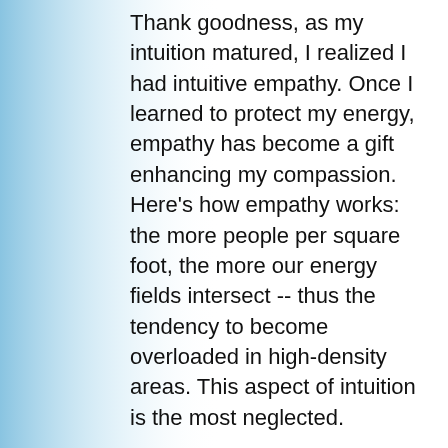Thank goodness, as my intuition matured, I realized I had intuitive empathy. Once I learned to protect my energy, empathy has become a gift enhancing my compassion. Here's how empathy works: the more people per square foot, the more our energy fields intersect -- thus the tendency to become overloaded in high-density areas. This aspect of intuition is the most neglected.
Empaths, unintentionally,